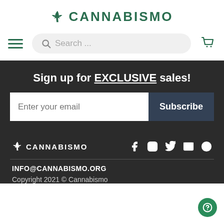[Figure (logo): Cannabismo logo with cannabis leaf icon and text CANNABISMO in green]
[Figure (screenshot): Navigation bar with hamburger menu, search bar with placeholder 'Search ...', and cart icon]
Sign up for EXCLUSIVE sales!
[Figure (screenshot): Email subscription form with 'Enter your email' input and 'Subscribe' button]
[Figure (logo): Cannabismo footer logo with cannabis leaf and social media icons: Facebook, Instagram, Twitter, Email, Pinterest]
INFO@CANNABISMO.ORG
Copyright 2021 © Cannabismo